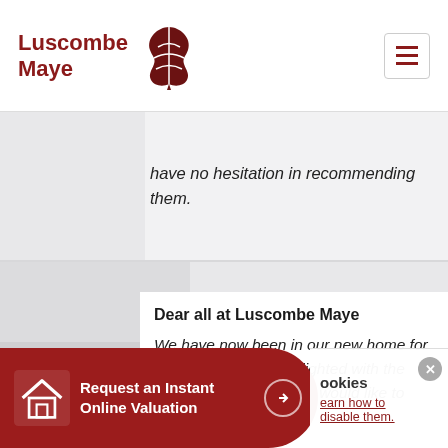Luscombe Maye
have no hesitation in recommending them.
Dear all at Luscombe Maye

We have now been in our new home for a w... now and are delighted with the house and t... area. We would like to thank you for the ser...
Request an Instant Online Valuation
ookies
earn how to disable them.